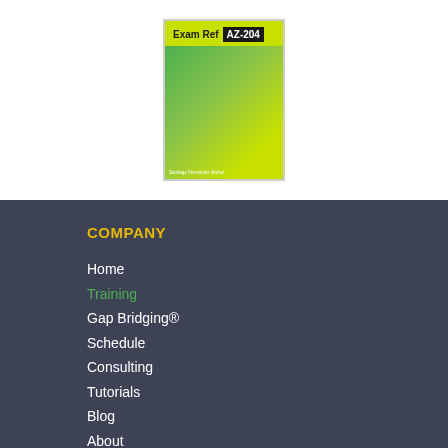[Figure (illustration): Book cover for 'Exam Ref AZ-204' with yellow-green title bar, dark badge showing 'AZ-204', and green gradient background with author name 'Santiago Fernandez Muñoz']
COMPANY
Home
Training
Gap Bridging®
Schedule
Consulting
Tutorials
Blog
About
Contact
Books